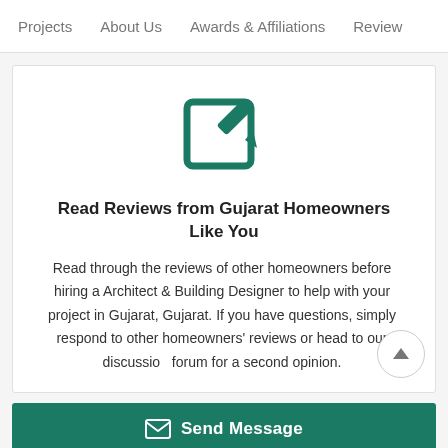Projects  About Us  Awards & Affiliations  Review
[Figure (illustration): Teal edit/review icon — a square with a pen/pencil overlay in dark teal color]
Read Reviews from Gujarat Homeowners Like You
Read through the reviews of other homeowners before hiring a Architect & Building Designer to help with your project in Gujarat, Gujarat. If you have questions, simply respond to other homeowners' reviews or head to our discussion forum for a second opinion.
Send Message